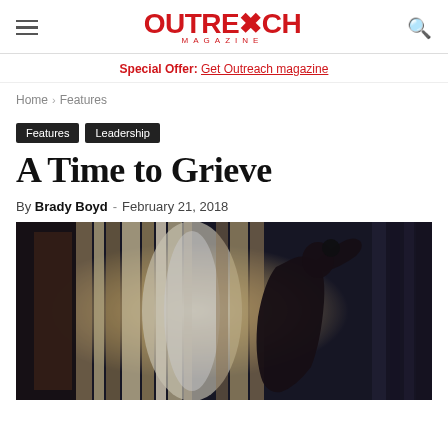Outreach Magazine
Special Offer: Get Outreach magazine
Home › Features
Features  Leadership
A Time to Grieve
By Brady Boyd - February 21, 2018
[Figure (photo): A person leaning against curtains in a dimly lit room, back turned, with light streaming through draped curtains from outside, conveying grief or distress.]